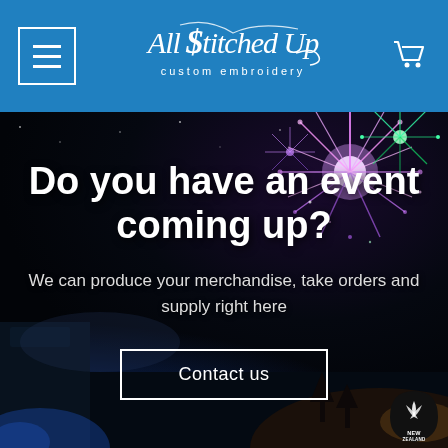All Stitched Up custom embroidery — navigation header with menu and cart icons
[Figure (screenshot): Website screenshot showing 'All Stitched Up custom embroidery' logo in blue header with hamburger menu on left and cart icon on right, and a hero image with fireworks over a night event with text overlay.]
Do you have an event coming up?
We can produce your merchandise, take orders and supply right here
Contact us